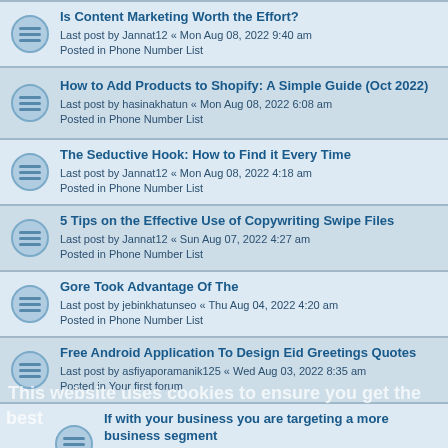Is Content Marketing Worth the Effort?
Last post by Jannat12 « Mon Aug 08, 2022 9:40 am
Posted in Phone Number List
How to Add Products to Shopify: A Simple Guide (Oct 2022)
Last post by hasinakhatun « Mon Aug 08, 2022 6:08 am
Posted in Phone Number List
The Seductive Hook: How to Find it Every Time
Last post by Jannat12 « Mon Aug 08, 2022 4:18 am
Posted in Phone Number List
5 Tips on the Effective Use of Copywriting Swipe Files
Last post by Jannat12 « Sun Aug 07, 2022 4:27 am
Posted in Phone Number List
Gore Took Advantage Of The
Last post by jebinkhatunseo « Thu Aug 04, 2022 4:20 am
Posted in Phone Number List
Free Android Application To Design Eid Greetings Quotes
Last post by asfiyaporamanik125 « Wed Aug 03, 2022 8:35 am
Posted in Your first forum
If with your business you are targeting a more business segment
Last post by Bappy « Sun Jul 31, 2022 5:35 am
Posted in Phone Number List
If with your business you are targeting a more business segment
Last post by Bappy « Sun Jul 31, 2022 5:35 am
Posted in Phone Number List